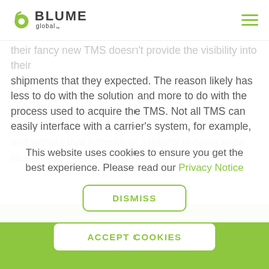Blume Global
their fancy new TMS doesn't provide the visibility into their shipments that they expected. The reason likely has less to do with the solution and more to do with the process used to acquire the TMS. Not all TMS can easily interface with a carrier's system, for example, and without that integration, visibility is going to be lacking."
This website uses cookies to ensure you get the best experience. Please read our Privacy Notice
DISMISS
ACCEPT COOKIES